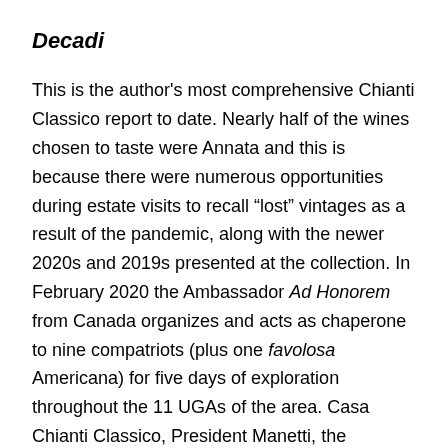Decadi
This is the author's most comprehensive Chianti Classico report to date. Nearly half of the wines chosen to taste were Annata and this is because there were numerous opportunities during estate visits to recall “lost” vintages as a result of the pandemic, along with the newer 2020s and 2019s presented at the collection. In February 2020 the Ambassador Ad Honorem from Canada organizes and acts as chaperone to nine compatriots (plus one favolosa Americana) for five days of exploration throughout the 11 UGAs of the area. Casa Chianti Classico, President Manetti, the Consorzio and the producers host La Squadra Canadese of sommeliers; John Szabo MS, Nadia Fournier, Scott Zebarth, Kristi Linneboe, Joris Garcia,